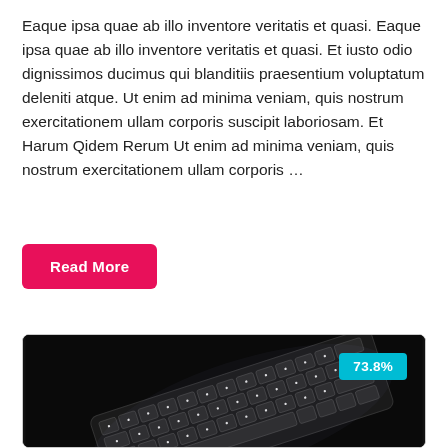Eaque ipsa quae ab illo inventore veritatis et quasi. Eaque ipsa quae ab illo inventore veritatis et quasi. Et iusto odio dignissimos ducimus qui blanditiis praesentium voluptatum deleniti atque. Ut enim ad minima veniam, quis nostrum exercitationem ullam corporis suscipit laboriosam. Et Harum Qidem Rerum Ut enim ad minima veniam, quis nostrum exercitationem ullam corporis …
Read More
[Figure (photo): Photo of a illuminated keyboard on a dark background, with a cyan badge showing 73.8% in the top right corner.]